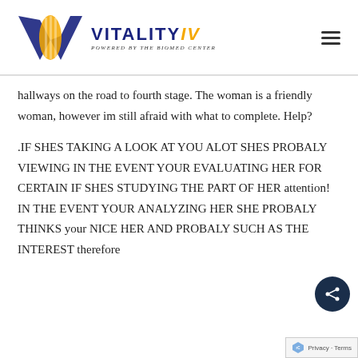[Figure (logo): Vitality IV logo powered by The BioMed Center — blue and gold DNA/wave graphic with text]
hallways on the road to fourth stage. The woman is a friendly woman, however im still afraid with what to complete. Help?
.IF SHES TAKING A LOOK AT YOU ALOT SHES PROBALY VIEWING IN THE EVENT YOUR EVALUATING HER FOR CERTAIN IF SHES STUDYING THE PART OF HER attention! IN THE EVENT YOUR ANALYZING HER SHE PROBALY THINKS your NICE HER AND PROBALY SUCH AS THE INTEREST therefore